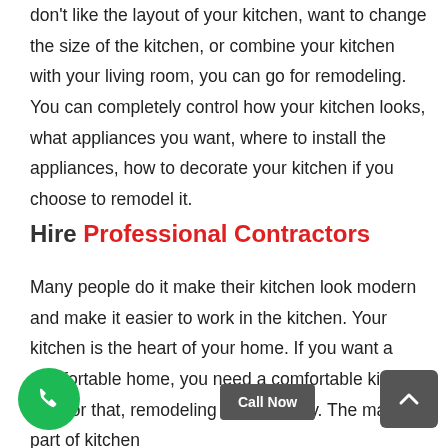don't like the layout of your kitchen, want to change the size of the kitchen, or combine your kitchen with your living room, you can go for remodeling. You can completely control how your kitchen looks, what appliances you want, where to install the appliances, how to decorate your kitchen if you choose to remodel it.
Hire Professional Contractors
Many people do it make their kitchen look modern and make it easier to work in the kitchen. Your kitchen is the heart of your home. If you want a comfortable home, you need a comfortable kitchen. And for that, remodeling is necessary. The major part of kitchen